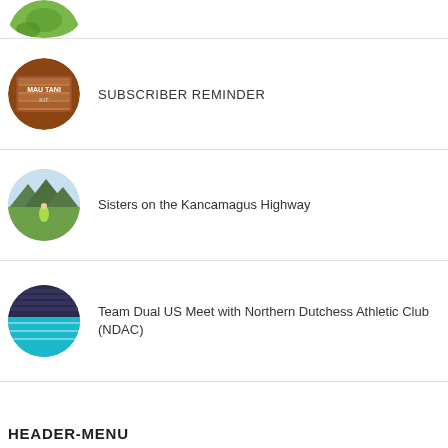[Figure (photo): Partial circular photo at top, partially cropped, showing green/nature scene]
SUBSCRIBER REMINDER
Sisters on the Kancamagus Highway
Team Dual US Meet with Northern Dutchess Athletic Club (NDAC)
HEADER-MENU